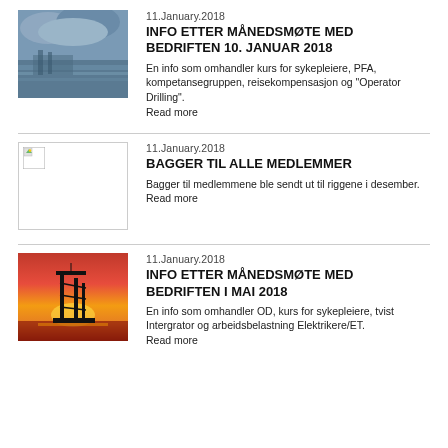[Figure (photo): Coastal/water scene with storm clouds]
11.January.2018
INFO ETTER MÅNEDSMØTE MED BEDRIFTEN 10. JANUAR 2018
En info som omhandler kurs for sykepleiere, PFA, kompetansegruppen, reisekompensasjon og "Operator Drilling".
Read more
[Figure (photo): Placeholder image (broken/missing image)]
11.January.2018
BAGGER TIL ALLE MEDLEMMER
Bagger til medlemmene ble sendt ut til riggene i desember.
Read more
[Figure (photo): Oil rig silhouette at sunset with red/orange sky]
11.January.2018
INFO ETTER MÅNEDSMØTE MED BEDRIFTEN I MAI 2018
En info som omhandler OD, kurs for sykepleiere, tvist Intergrator og arbeidsbelastning Elektrikere/ET.
Read more